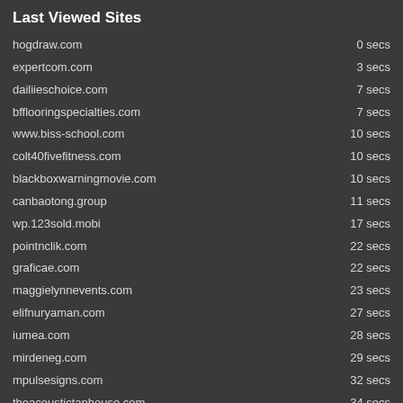Last Viewed Sites
| Site | Time |
| --- | --- |
| hogdraw.com | 0 secs |
| expertcom.com | 3 secs |
| dailiieschoice.com | 7 secs |
| bfflooringspecialties.com | 7 secs |
| www.biss-school.com | 10 secs |
| colt40fivefitness.com | 10 secs |
| blackboxwarningmovie.com | 10 secs |
| canbaotong.group | 11 secs |
| wp.123sold.mobi | 17 secs |
| pointnclik.com | 22 secs |
| graficae.com | 22 secs |
| maggielynnevents.com | 23 secs |
| elifnuryaman.com | 27 secs |
| iumea.com | 28 secs |
| mirdeneg.com | 29 secs |
| mpulsesigns.com | 32 secs |
| theacoustictaphouse.com | 34 secs |
| jetsflow.com | 34 secs |